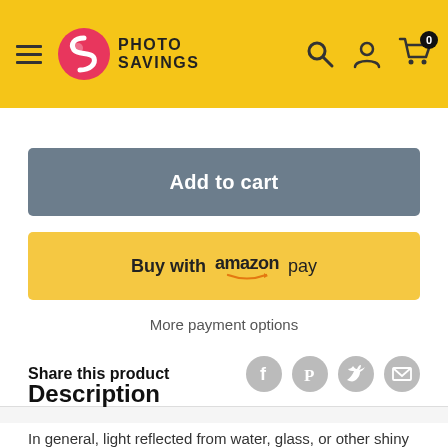Photo Savings - navigation header with hamburger menu, logo, search, account, and cart icons
[Figure (screenshot): Add to cart button - dark grey rounded rectangle button with white bold text 'Add to cart']
[Figure (screenshot): Buy with Amazon Pay button - yellow rounded rectangle button with text 'Buy with amazon pay' and Amazon smile arrow logo]
More payment options
Share this product
Description
In general, light reflected from water, glass, or other shiny